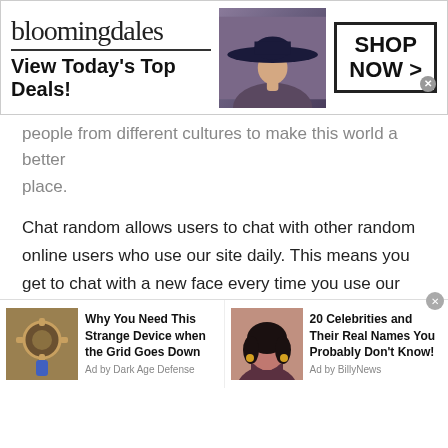[Figure (screenshot): Bloomingdales advertisement banner: 'View Today's Top Deals!' with woman in wide brim hat and 'SHOP NOW >' button]
people from different cultures to make this world a better place.
Chat random allows users to chat with other random online users who use our site daily. This means you get to chat with a new face every time you use our chat random feature which makes it an excellent way of building new connections with a stranger who might share the same interests as you do. You could even chat with them about new topics or issues that you did not know about.
Random chat features enable the youth, or teenagers to
[Figure (screenshot): Two native advertising widgets at bottom: Left: 'Why You Need This Strange Device when the Grid Goes Down' Ad by Dark Age Defense, Right: '20 Celebrities and Their Real Names You Probably Don't Know!' Ad by BillyNews]